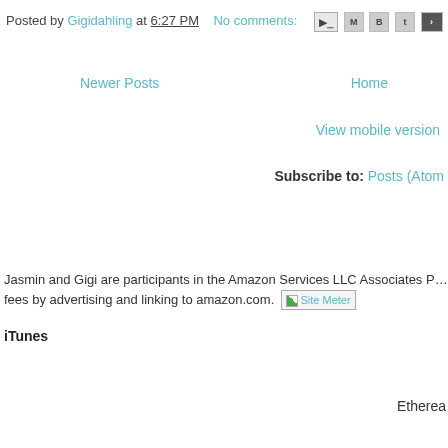Posted by Gigidahling at 6:27 PM   No comments:
Newer Posts
Home
View mobile version
Subscribe to: Posts (Atom
Jasmin and Gigi are participants in the Amazon Services LLC Associates P... fees by advertising and linking to amazon.com. Site Meter
iTunes
Etherea